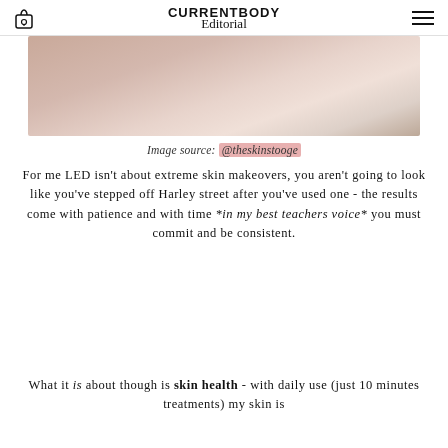CURRENTBODY Editorial
[Figure (photo): Partial view of a person in a white tank top holding a glass, warm-toned background]
Image source: @theskinstooge
For me LED isn't about extreme skin makeovers, you aren't going to look like you've stepped off Harley street after you've used one - the results come with patience and with time *in my best teachers voice* you must commit and be consistent.
What it is about though is skin health - with daily use (just 10 minutes treatments) my skin is